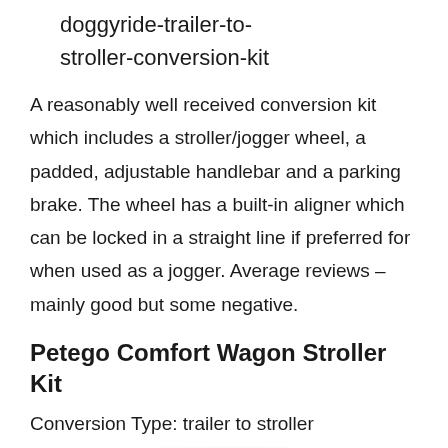doggyride-trailer-to-stroller-conversion-kit
A reasonably well received conversion kit which includes a stroller/jogger wheel, a padded, adjustable handlebar and a parking brake. The wheel has a built-in aligner which can be locked in a straight line if preferred for when used as a jogger. Average reviews – mainly good but some negative.
Petego Comfort Wagon Stroller Kit
Conversion Type: trailer to stroller
[Figure (photo): Blurred/obscured product image of Petego Comfort Wagon Stroller Kit]